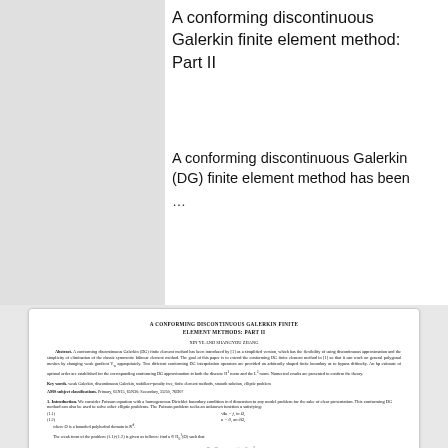A conforming discontinuous Galerkin finite element method: Part II
A conforming discontinuous Galerkin (DG) finite element method has been …
[Figure (screenshot): Thumbnail/preview of the academic paper showing title 'A CONFORMING DISCONTINUOUS GALERKIN FINITE ELEMENT METHODS PART II', authors, abstract, key words, AMS classification, introduction section with Poisson equation problem setup and weak formulation equations (1.1)-(1.4).]